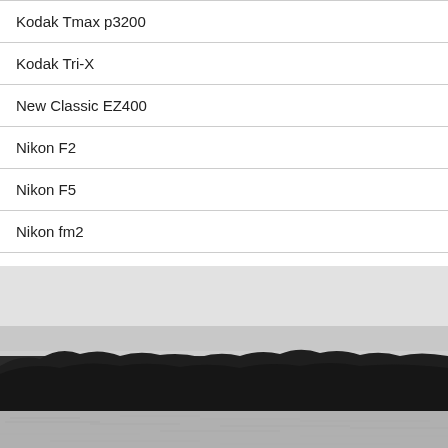Kodak Tmax p3200
Kodak Tri-X
New Classic EZ400
Nikon F2
Nikon F5
Nikon fm2
[Figure (photo): Black and white landscape photograph showing a calm lake or river in the foreground with a dense treeline of forest in the middle ground and a hazy, overcast sky above.]